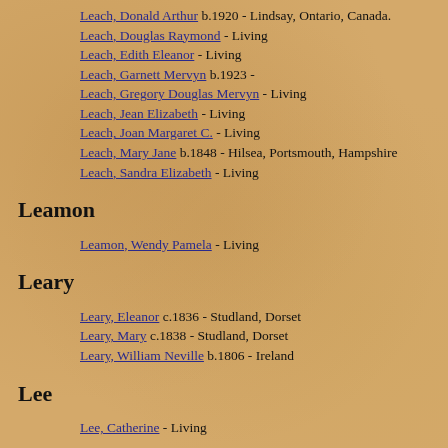Leach, Donald Arthur b.1920 - Lindsay, Ontario, Canada.
Leach, Douglas Raymond - Living
Leach, Edith Eleanor - Living
Leach, Garnett Mervyn b.1923 -
Leach, Gregory Douglas Mervyn - Living
Leach, Jean Elizabeth - Living
Leach, Joan Margaret C. - Living
Leach, Mary Jane b.1848 - Hilsea, Portsmouth, Hampshire
Leach, Sandra Elizabeth - Living
Leamon
Leamon, Wendy Pamela - Living
Leary
Leary, Eleanor c.1836 - Studland, Dorset
Leary, Mary c.1838 - Studland, Dorset
Leary, William Neville b.1806 - Ireland
Lee
Lee, Catherine - Living